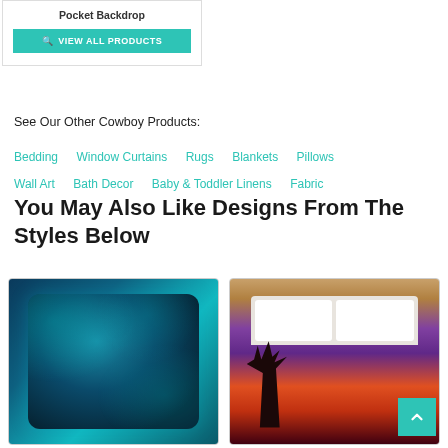Pocket Backdrop
VIEW ALL PRODUCTS
See Our Other Cowboy Products:
Bedding   Window Curtains   Rugs   Blankets   Pillows   Wall Art   Bath Decor   Baby & Toddler Linens   Fabric
You May Also Like Designs From The Styles Below
[Figure (photo): Blue tropical leaf pillow with dark teal background]
[Figure (photo): Bed with palm tree sunset duvet cover in purple and orange tones]